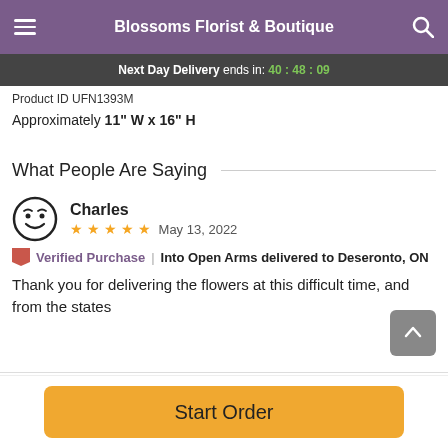Blossoms Florist & Boutique
Next Day Delivery ends in: 40 : 48 : 09
Product ID UFN1393M
Approximately 11" W x 16" H
What People Are Saying
Charles
★★★★★ May 13, 2022
Verified Purchase | Into Open Arms delivered to Deseronto, ON
Thank you for delivering the flowers at this difficult time, and from the states
Start Order